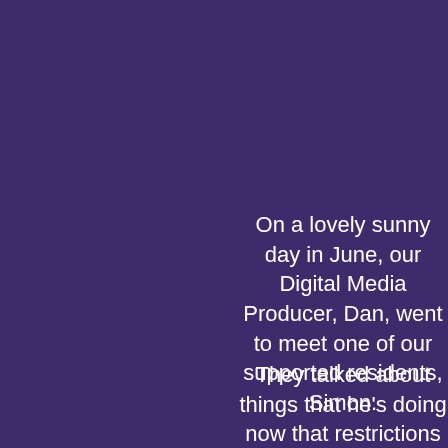On a lovely sunny day in June, our Digital Media Producer, Dan, went to meet one of our supported residents, Simon.
They talked about things that he's doing now that restrictions are